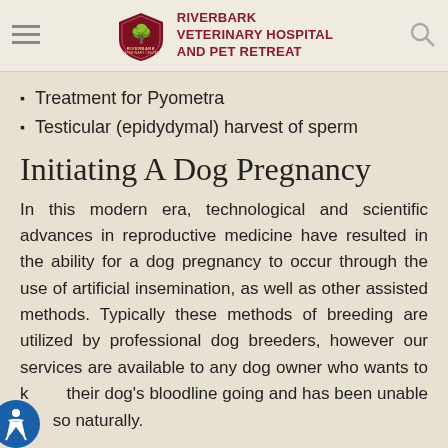RIVERBARK VETERINARY HOSPITAL AND PET RETREAT
Treatment for Pyometra
Testicular (epidydymal) harvest of sperm
Initiating A Dog Pregnancy
In this modern era, technological and scientific advances in reproductive medicine have resulted in the ability for a dog pregnancy to occur through the use of artificial insemination, as well as other assisted methods. Typically these methods of breeding are utilized by professional dog breeders, however our services are available to any dog owner who wants to keep their dog's bloodline going and has been unable to do so naturally.